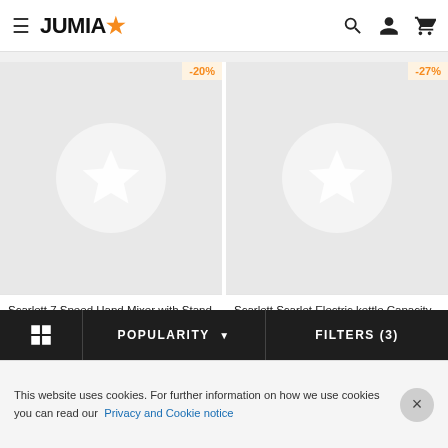JUMIA
[Figure (screenshot): Product card for Scarlett 7 Speed Hand Mixer with Stand Mixer With Stainless Steel... with -20% discount badge, showing Jumia placeholder star logo image]
[Figure (screenshot): Product card for Scarlett Scarlet Electric kettle Capacity 2 Litres - Silver with -27% discount badge, showing Jumia placeholder star logo image]
Scarlett 7 Speed Hand Mixer with Stand Mixer With Stainless Steel...
UGX 120,000 UGX 150,000
Scarlett Scarlet Electric kettle Capacity 2 Litres - Silver
UGX 33,000 UGX 45,000
POPULARITY
FILTERS (3)
This website uses cookies. For further information on how we use cookies you can read our Privacy and Cookie notice